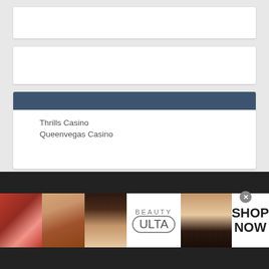[Figure (screenshot): Empty white content box 1 at top]
[Figure (screenshot): Empty white content box 2]
Thrills Casino
Queenvegas Casino
[Figure (infographic): Ulta Beauty advertisement banner showing makeup images (lips, brush, eye, Ulta logo, eyes) with SHOP NOW call to action]